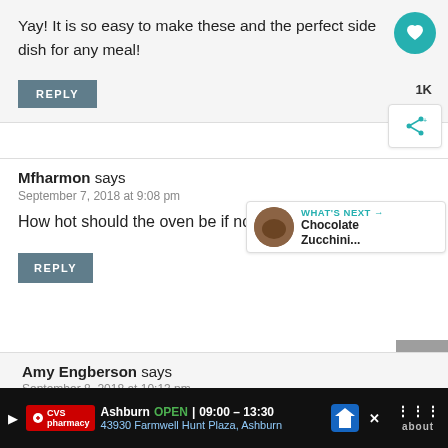Yay! It is so easy to make these and the perfect side dish for any meal!
REPLY
Mfharmon says
September 7, 2018 at 9:08 pm
How hot should the oven be if not grilling?
REPLY
WHAT'S NEXT → Chocolate Zucchini...
1K
Amy Engberson says
September 8, 2018 at 10:13 pm
Ashburn OPEN 09:00 – 13:30 43930 Farmwell Hunt Plaza, Ashburn